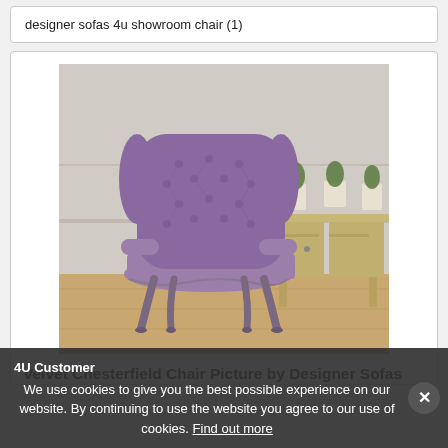designer sofas 4u showroom chair (1)
[Figure (photo): A purple velvet tufted Chesterfield wingback chair with ornate wooden legs, placed in a room with wood flooring and a gold console table with potted plants in the background.]
Velvet Chesterfield Chair Picture by Designer Sofas 4U Customer
We use cookies to give you the best possible experience on our website. By continuing to use the website you agree to our use of cookies. Find out more